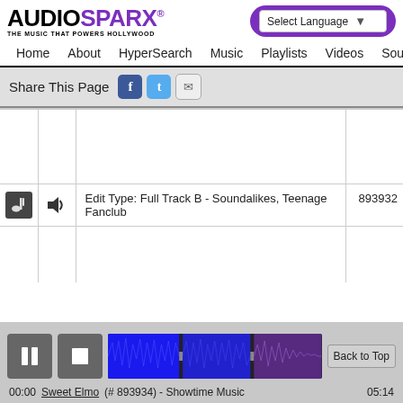[Figure (logo): AudioSparx logo with tagline 'THE MUSIC THAT POWERS HOLLYWOOD']
[Figure (screenshot): Select Language dropdown in purple pill-shaped header area]
Home  About  HyperSearch  Music  Playlists  Videos  Sound
Share This Page
|  |  | Edit Type | ID |
| --- | --- | --- | --- |
|  |  |  |  |
| [music icon] | [volume icon] | Edit Type: Full Track B - Soundalikes, Teenage Fanclub | 893932 |
[Figure (screenshot): Audio player bar with pause button, stop button, waveform visualization in blue/purple, Back to Top button, and track info showing 00:00 Sweet Elmo (#893934) - Showtime Music 05:14]